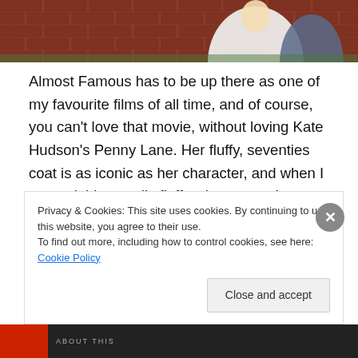[Figure (photo): Two people standing outdoors in front of a brick wall. One is wearing a white fluffy coat.]
Almost Famous has to be up there as one of my favourite films of all time, and of course, you can't love that movie, without loving Kate Hudson's Penny Lane. Her fluffy, seventies coat is as iconic as her character, and when I spotted this equally fluffy winter coat- I immediately wanted to create a modern twist on her look. The lovely guys at Asda asked me to style up some of their latest pieces- and I thought they lent themselves perfectly to this
Privacy & Cookies: This site uses cookies. By continuing to use this website, you agree to their use.
To find out more, including how to control cookies, see here: Cookie Policy
Close and accept